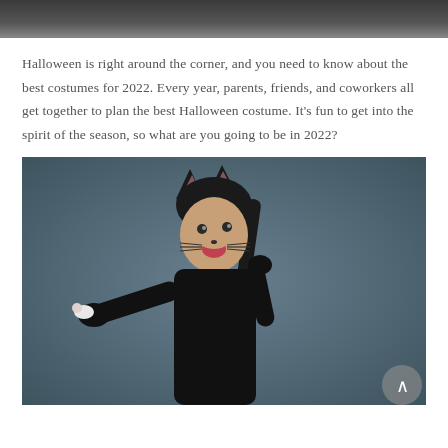[Figure (photo): Partial top image showing a dark-toned photo crop at the top of the page]
Halloween is right around the corner, and you need to know about the best costumes for 2022. Every year, parents, friends, and coworkers all get together to plan the best Halloween costume. It's fun to get into the spirit of the season, so what are you going to be in 2022?
[Figure (photo): A woman dressed in a black cat Halloween costume with cat ears headband, whiskers painted on her face, black gloves, and a black long-sleeve top, posing against a gray background while holding a small white mouse in her outstretched hand]